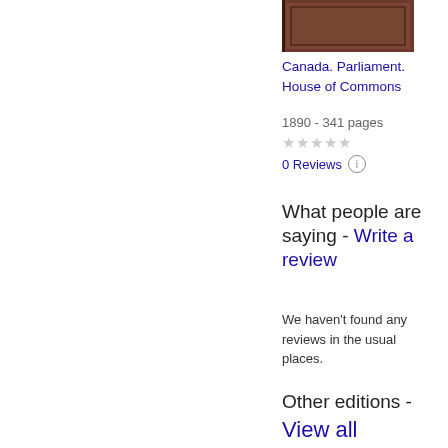[Figure (photo): Book cover thumbnail showing a dark brown/maroon book cover]
Canada. Parliament. House of Commons
1890 - 341 pages
★★★★★
0 Reviews
What people are saying - Write a review
We haven't found any reviews in the usual places.
Other editions - View all